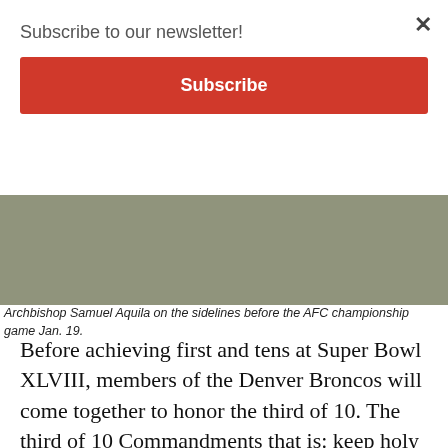Subscribe to our newsletter!
Subscribe
[Figure (photo): Photograph of Archbishop Samuel Aquila on the sidelines before the AFC championship game, showing legs of people outdoors with grass and fencing visible.]
Archbishop Samuel Aquila on the sidelines before the AFC championship game Jan. 19.
Before achieving first and tens at Super Bowl XLVIII, members of the Denver Broncos will come together to honor the third of 10. The third of 10 Commandments that is: keep holy the Sabbath.
The evening before the AFC champs take on the NFC champion Seattle Seahawks at MetLife Stadium in East